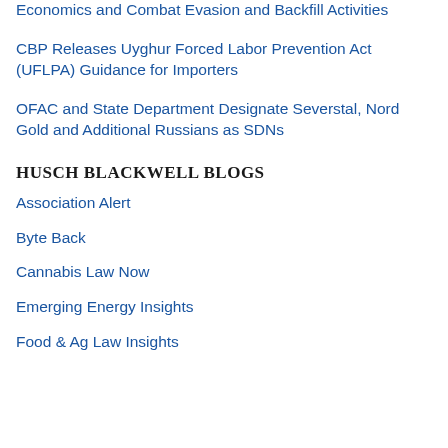Economics and Combat Evasion and Backfill Activities
CBP Releases Uyghur Forced Labor Prevention Act (UFLPA) Guidance for Importers
OFAC and State Department Designate Severstal, Nord Gold and Additional Russians as SDNs
HUSCH BLACKWELL BLOGS
Association Alert
Byte Back
Cannabis Law Now
Emerging Energy Insights
Food & Ag Law Insights